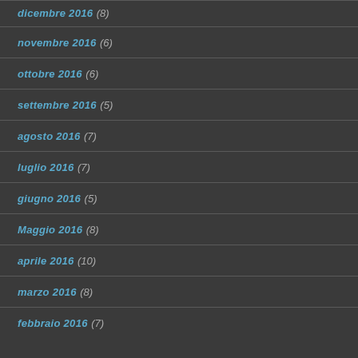dicembre 2016 (8)
novembre 2016 (6)
ottobre 2016 (6)
settembre 2016 (5)
agosto 2016 (7)
luglio 2016 (7)
giugno 2016 (5)
Maggio 2016 (8)
aprile 2016 (10)
marzo 2016 (8)
febbraio 2016 (7)